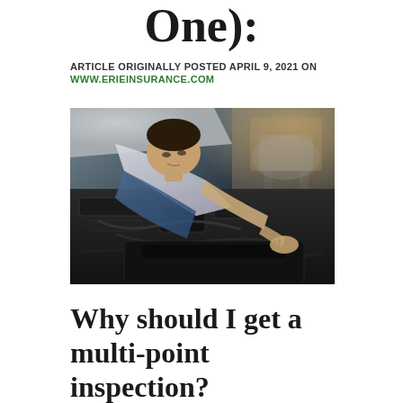One):
ARTICLE ORIGINALLY POSTED APRIL 9, 2021 ON WWW.ERIEINSURANCE.COM
[Figure (photo): A mechanic in a blue apron leaning over a car engine, working on the engine bay in an auto repair shop with another vehicle visible on a lift in the background.]
Why should I get a multi-point inspection?